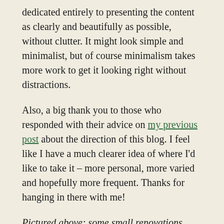dedicated entirely to presenting the content as clearly and beautifully as possible, without clutter. It might look simple and minimalist, but of course minimalism takes more work to get it looking right without distractions.
Also, a big thank you to those who responded with their advice on my previous post about the direction of this blog. I feel like I have a much clearer idea of where I'd like to take it – more personal, more varied and hopefully more frequent. Thanks for hanging in there with me!
Pictured above: some small renovations we've been doing on our unit. More on that stuff later, I just wanted to show off the nice big featured photo!